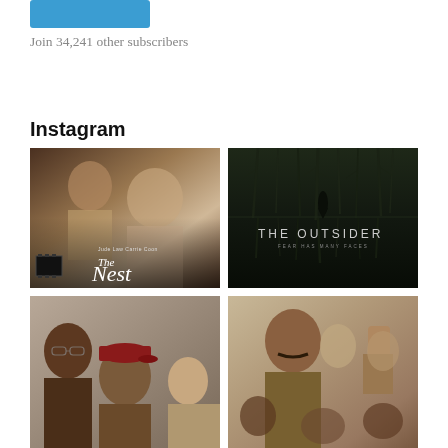[Figure (other): Blue subscribe button (cropped, partial view at top)]
Join 34,241 other subscribers
Instagram
[Figure (photo): Movie poster for 'The Nest' featuring Jude Law and Carrie Coon in period setting]
[Figure (photo): Movie/TV poster for 'The Outsider' with dark trees and tagline 'Fear Has Many Faces']
[Figure (photo): Photo of group of people including someone in a red cap]
[Figure (photo): Movie poster with man with mustache and raised fist crowd scene]